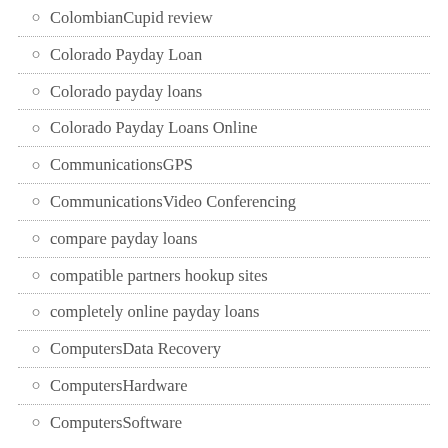ColombianCupid review
Colorado Payday Loan
Colorado payday loans
Colorado Payday Loans Online
CommunicationsGPS
CommunicationsVideo Conferencing
compare payday loans
compatible partners hookup sites
completely online payday loans
ComputersData Recovery
ComputersHardware
ComputersSoftware